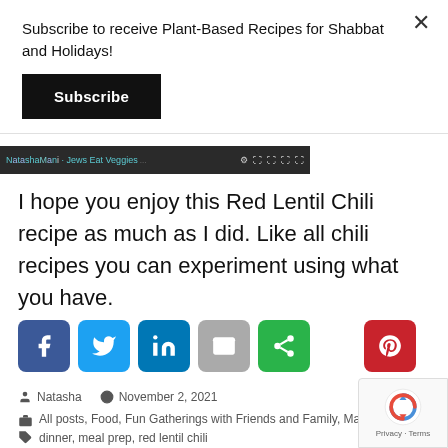Subscribe to receive Plant-Based Recipes for Shabbat and Holidays!
Subscribe
[Figure (screenshot): Video player bar showing 'Natasha Mani - Jews Eat Veggies' channel with dark background and playback controls]
I hope you enjoy this Red Lentil Chili recipe as much as I did. Like all chili recipes you can experiment using what you have.
[Figure (infographic): Social share buttons row: Facebook, Twitter, LinkedIn, Email, Share (green), Pinterest]
Natasha   November 2, 2021
All posts, Food, Fun Gatherings with Friends and Family, Main m
dinner, meal prep, red lentil chili